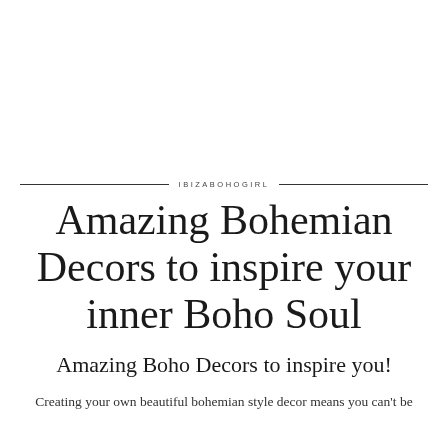[Figure (photo): Large white/blank image area at top of page]
IBIZABOHOGIRL
Amazing Bohemian Decors to inspire your inner Boho Soul
Amazing Boho Decors to inspire you!
Creating your own beautiful bohemian style decor means you can't be